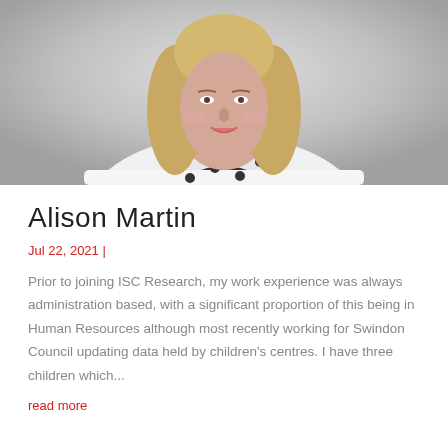[Figure (photo): Professional headshot of Alison Martin, a woman with long blonde hair wearing a white blouse with black polka dots, photographed against a grey gradient background.]
Alison Martin
Jul 22, 2021 |
Prior to joining ISC Research, my work experience was always administration based, with a significant proportion of this being in Human Resources although most recently working for Swindon Council updating data held by children's centres. I have three children which...
read more